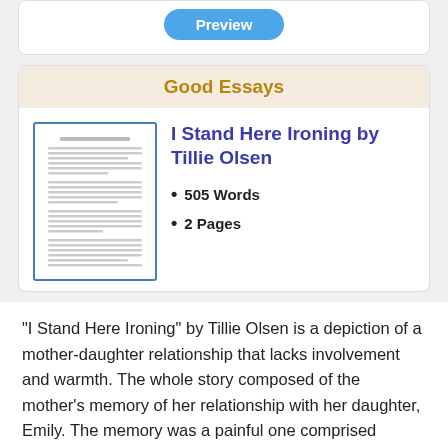[Figure (screenshot): Preview button (blue rounded rectangle with 'Preview' text)]
Good Essays
[Figure (illustration): Thumbnail image of an essay document page with lines of text]
I Stand Here Ironing by Tillie Olsen
505 Words
2 Pages
“I Stand Here Ironing” by Tillie Olsen is a depiction of a mother-daughter relationship that lacks involvement and warmth. The whole story composed of the mother’s memory of her relationship with her daughter, Emily. The memory was a painful one comprised mostly of the way the mother was much less able to care for Emily. The